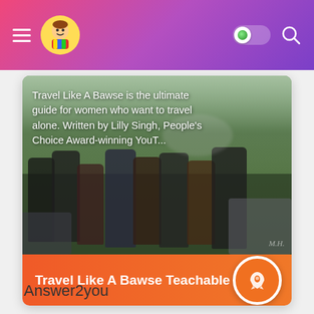Travel Like A Bawse Teachable
[Figure (screenshot): Mobile app screenshot showing a group of people posing outdoors near cars with trees in the background, with overlay text about Travel Like A Bawse]
Travel Like A Bawse is the ultimate guide for women who want to travel alone. Written by Lilly Singh, People's Choice Award-winning YouT...
Travel Like A Bawse Teachable
Answer2you